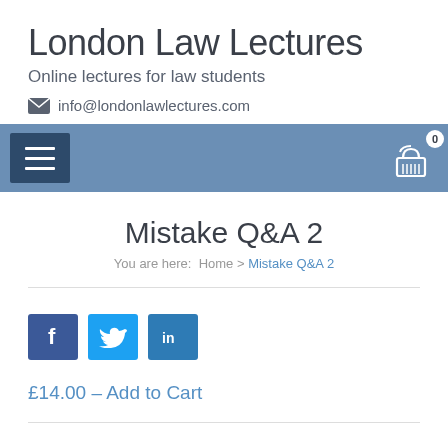London Law Lectures
Online lectures for law students
info@londonlawlectures.com
[Figure (screenshot): Navigation bar with hamburger menu button on left and shopping cart icon with badge showing 0 on right, blue background]
Mistake Q&A 2
You are here: Home > Mistake Q&A 2
[Figure (infographic): Social share buttons: Facebook (blue), Twitter (light blue), LinkedIn (blue)]
£14.00 – Add to Cart